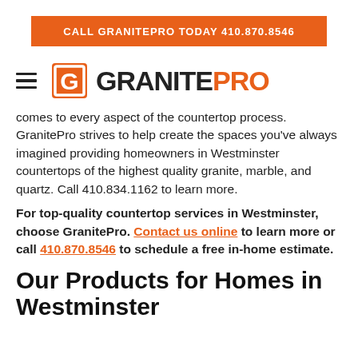CALL GRANITEPRO TODAY 410.870.8546
[Figure (logo): GranitePro logo with orange bracket-G icon and GRANITEPRO text, hamburger menu icon to the left]
comes to every aspect of the countertop process. GranitePro strives to help create the spaces you've always imagined providing homeowners in Westminster countertops of the highest quality granite, marble, and quartz. Call 410.834.1162 to learn more.
For top-quality countertop services in Westminster, choose GranitePro. Contact us online to learn more or call 410.870.8546 to schedule a free in-home estimate.
Our Products for Homes in Westminster